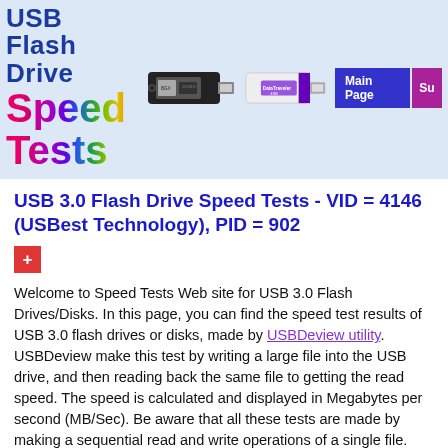[Figure (illustration): USB Flash Drive Speed Tests website header banner with colorful gradient 'Speed Tests' title, USB drive images (black and white), and navigation buttons including 'Main Page']
USB 3.0 Flash Drive Speed Tests - VID = 4146 (USBest Technology), PID = 902
+ (red plus button)
Welcome to Speed Tests Web site for USB 3.0 Flash Drives/Disks. In this page, you can find the speed test results of USB 3.0 flash drives or disks, made by USBDeview utility. USBDeview make this test by writing a large file into the USB drive, and then reading back the same file to getting the read speed. The speed is calculated and displayed in Megabytes per second (MB/Sec). Be aware that all these tests are made by making a sequential read and write operations of a single file. When you use multiple small files, you'll probably get much lower read/write performances.